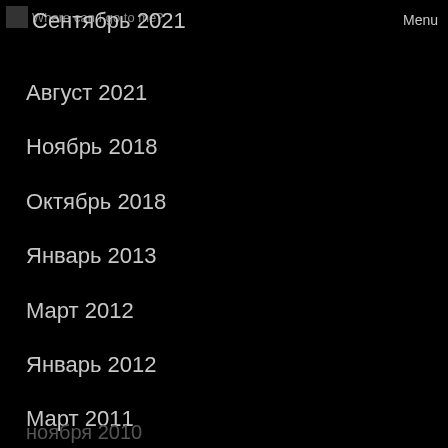Where can I go to me? Сентябрь 2021 Menu
Август 2021
Ноябрь 2018
Октябрь 2018
Январь 2013
Март 2012
Январь 2012
Март 2011
Октябрь 2010
Сентябрь 2010